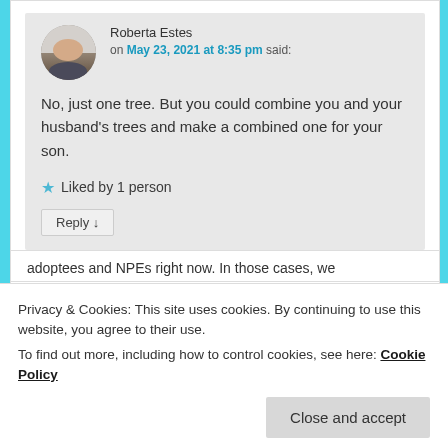Roberta Estes on May 23, 2021 at 8:35 pm said:
No, just one tree. But you could combine you and your husband's trees and make a combined one for your son.
★ Liked by 1 person
Reply ↓
Privacy & Cookies: This site uses cookies. By continuing to use this website, you agree to their use. To find out more, including how to control cookies, see here: Cookie Policy
Close and accept
adoptees and NPEs right now. In those cases, we